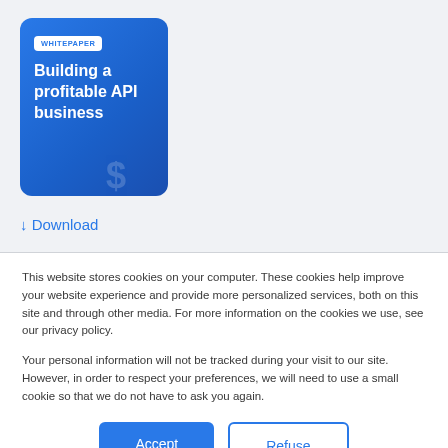[Figure (illustration): Whitepaper card with blue gradient background, badge labeled WHITEPAPER, and title 'Building a profitable API business']
↓ Download
This website stores cookies on your computer. These cookies help improve your website experience and provide more personalized services, both on this site and through other media. For more information on the cookies we use, see our privacy policy.
Your personal information will not be tracked during your visit to our site. However, in order to respect your preferences, we will need to use a small cookie so that we do not have to ask you again.
Accept
Refuse